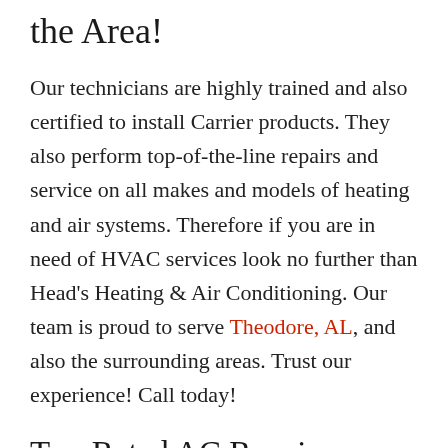the Area!
Our technicians are highly trained and also certified to install Carrier products. They also perform top-of-the-line repairs and service on all makes and models of heating and air systems. Therefore if you are in need of HVAC services look no further than Head's Heating & Air Conditioning. Our team is proud to serve Theodore, AL, and also the surrounding areas. Trust our experience! Call today!
Top-Rated AC Repair Theodore, AL
We are your local HVAC Mobile, AL